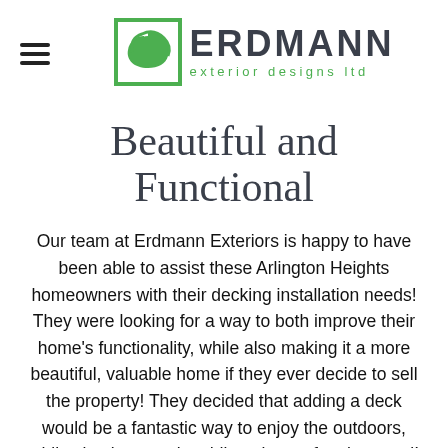Erdmann exterior designs ltd
Beautiful and Functional
Our team at Erdmann Exteriors is happy to have been able to assist these Arlington Heights homeowners with their decking installation needs! They were looking for a way to both improve their home's functionality, while also making it a more beautiful, valuable home if they ever decide to sell the property! They decided that adding a deck would be a fantastic way to enjoy the outdoors, while simultaneously adding plenty of curb appeal!